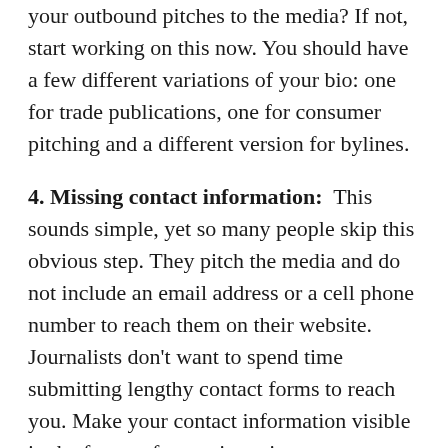your outbound pitches to the media? If not, start working on this now. You should have a few different variations of your bio: one for trade publications, one for consumer pitching and a different version for bylines.
4. Missing contact information: This sounds simple, yet so many people skip this obvious step. They pitch the media and do not include an email address or a cell phone number to reach them on their website. Journalists don't want to spend time submitting lengthy contact forms to reach you. Make your contact information visible in the footer of your site to increase your chances of visibility. If you are going to provide a phone number, make sure it is a direct line, and not a spammy 1-800 number.
5. Missing media collateral: If you are pitching a human interest story to the media, journalists will want to see some basic information. This makes their lives significantly easier so they can review those pertinent details working